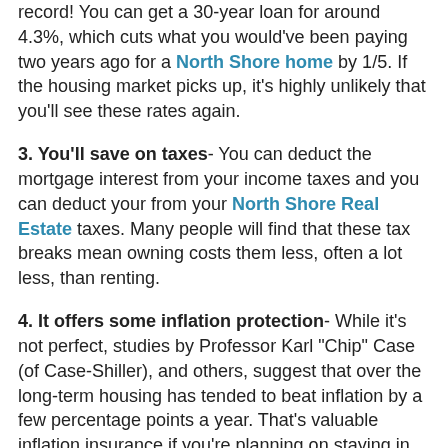record! You can get a 30-year loan for around 4.3%, which cuts what you would've been paying two years ago for a North Shore home by 1/5. If the housing market picks up, it's highly unlikely that you'll see these rates again.
3. You'll save on taxes- You can deduct the mortgage interest from your income taxes and you can deduct your from your North Shore Real Estate taxes. Many people will find that these tax breaks mean owning costs them less, often a lot less, than renting.
4. It offers some inflation protection- While it's not perfect, studies by Professor Karl "Chip" Case (of Case-Shiller), and others, suggest that over the long-term housing has tended to beat inflation by a few percentage points a year. That's valuable inflation insurance if you're planning on staying in Chicago's North Shore long term!
5. Sooner or later, the market will clear- Demand and supply will eventually balance each other out. The population is forecast to grow by more than 100 million people over the next 40 years. That means maybe 40 million new